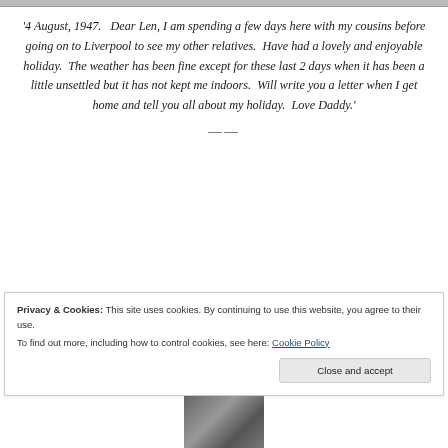[Figure (photo): Partial image at top of page, cropped]
'4 August, 1947.  Dear Len, I am spending a few days here with my cousins before going on to Liverpool to see my other relatives.  Have had a lovely and enjoyable holiday.  The weather has been fine except for these last 2 days when it has been a little unsettled but it has not kept me indoors.  Will write you a letter when I get home and tell you all about my holiday.  Love Daddy.'
Privacy & Cookies: This site uses cookies. By continuing to use this website, you agree to their use.
To find out more, including how to control cookies, see here: Cookie Policy
[Figure (photo): Partial photograph visible at bottom of page]